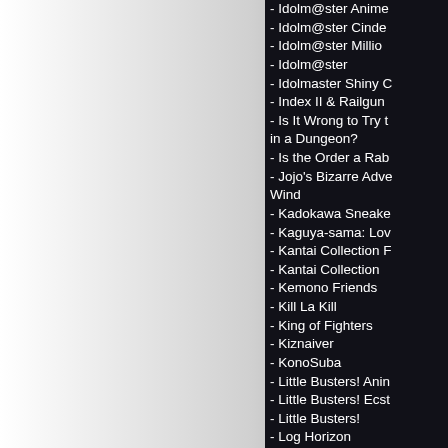- Idolm@ster Anime
- Idolm@ster Cinde
- Idolm@ster Millio
- Idolm@ster
- Idolmaster Shiny C
- Index II & Railgun
- Is It Wrong to Try t in a Dungeon?
- Is the Order a Rab
- Jojo's Bizarre Adve Wind
- Kadokawa Sneake
- Kaguya-sama: Lov
- Kantai Collection F
- Kantai Collection
- Kemono Friends
- Kill La Kill
- King of Fighters
- Kiznaiver
- KonoSuba
- Little Busters! Anin
- Little Busters! Ecst
- Little Busters!
- Log Horizon
- Lost Decade
- Love Live Nijigasa Club feat. School Id Stars